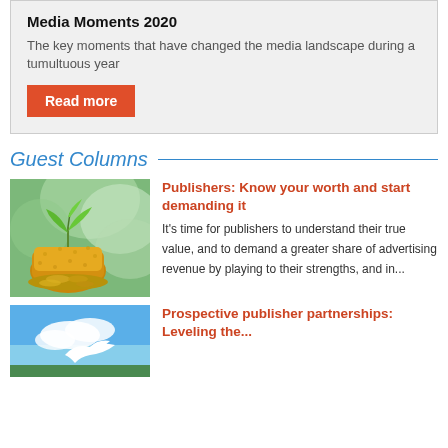Media Moments 2020
The key moments that have changed the media landscape during a tumultuous year
Read more
Guest Columns
[Figure (photo): A plant seedling growing from a citrus fruit half filled with coins, placed on a pile of coins, with green bokeh background]
Publishers: Know your worth and start demanding it
It's time for publishers to understand their true value, and to demand a greater share of advertising revenue by playing to their strengths, and in...
[Figure (photo): Partial view of an article image showing blue sky and what appears to be a white bird or dove]
Prospective publisher partnerships: Leveling the...